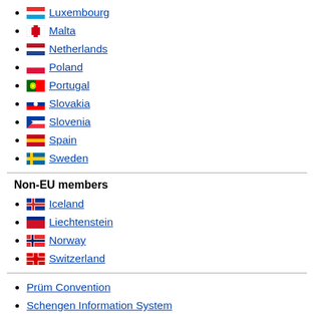Luxembourg
Malta
Netherlands
Poland
Portugal
Slovakia
Slovenia
Spain
Sweden
Non-EU members
Iceland
Liechtenstein
Norway
Switzerland
Prüm Convention
Schengen Information System
Visa Information System
Visa policy of the Schengen Area
Non-Schengen Area states